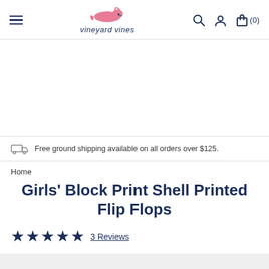vineyard vines — navigation header with hamburger menu, logo, search, account, and cart (0)
Free ground shipping available on all orders over $125.
Home
Girls' Block Print Shell Printed Flip Flops
★★★★★ 3 Reviews